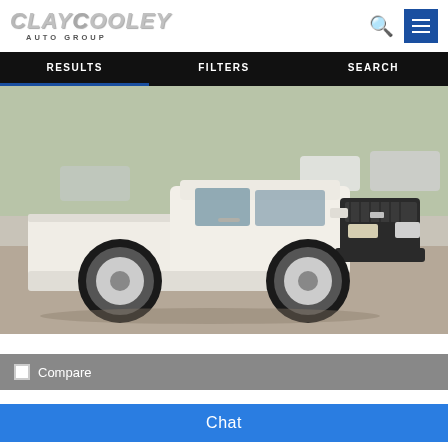[Figure (logo): Clay Cooley Auto Group logo in metallic silver italic lettering with 'AUTO GROUP' subtitle]
RESULTS   FILTERS   SEARCH
[Figure (photo): White Nissan Frontier extended cab pickup truck parked in a dealership lot with other vehicles visible in the background]
Compare
Chat